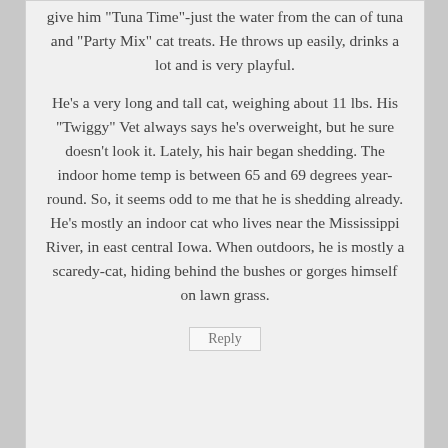give him "Tuna Time"-just the water from the can of tuna and "Party Mix" cat treats. He throws up easily, drinks a lot and is very playful.
He's a very long and tall cat, weighing about 11 lbs. His “Twiggy” Vet always says he's overweight, but he sure doesn't look it. Lately, his hair began shedding. The indoor home temp is between 65 and 69 degrees year-round. So, it seems odd to me that he is shedding already. He's mostly an indoor cat who lives near the Mississippi River, in east central Iowa. When outdoors, he is mostly a scaredy-cat, hiding behind the bushes or gorges himself on lawn grass.
Reply